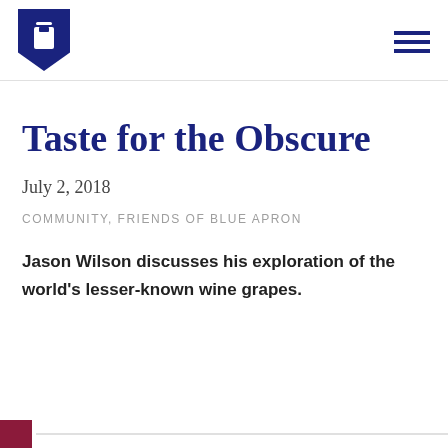[Figure (logo): Blue Apron shield/apron logo in dark navy blue]
Taste for the Obscure
July 2, 2018
COMMUNITY, FRIENDS OF BLUE APRON
Jason Wilson discusses his exploration of the world's lesser-known wine grapes.